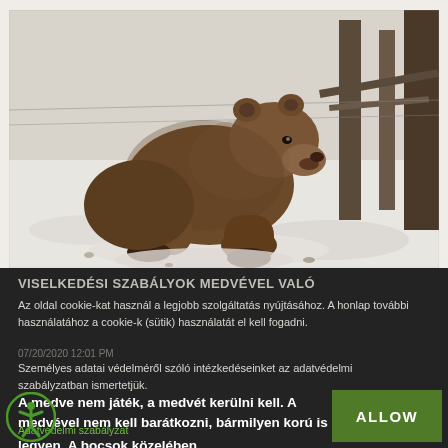[Figure (photo): A large brown bear walking on snowy ground in a winter enclosure, with bare trees and fencing visible in the background.]
VISELKEDÉSI SZABÁLYOK MEDVÉVEL VALÓ
Az oldal cookie-kat használ a legjobb szolgáltatás nyújtásához. A honlap további használatához a cookie-k (sütik) használatát el kell fogadni.
07/20/2020 12:01 PM
Személyes adatai védelméről szóló intézkedéseinket az adatvédelmi szabályzatban ismertetjük.
A medve nem játék, a medvét kerülni kell. A medvével nem kell barátkozni, bármilyen korú is legyen. A bocsok közelében nagy valószínűséggel az anya is ott van. A leg
Adatvédelmi szabályzat
ALLOW